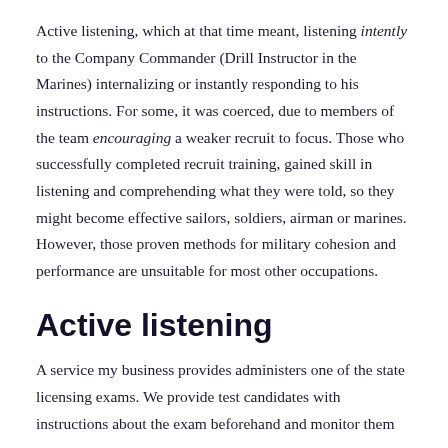Active listening, which at that time meant, listening intently to the Company Commander (Drill Instructor in the Marines) internalizing or instantly responding to his instructions. For some, it was coerced, due to members of the team encouraging a weaker recruit to focus. Those who successfully completed recruit training, gained skill in listening and comprehending what they were told, so they might become effective sailors, soldiers, airman or marines. However, those proven methods for military cohesion and performance are unsuitable for most other occupations.
Active listening
A service my business provides administers one of the state licensing exams. We provide test candidates with instructions about the exam beforehand and monitor them